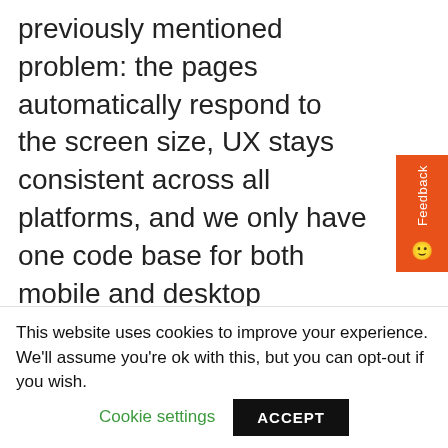previously mentioned problem: the pages automatically respond to the screen size, UX stays consistent across all platforms, and we only have one code base for both mobile and desktop platforms. Unfortunately, this solution comes with some limitations. Responsive Web Design has clear network dependency; as soon as the connection is lost, your page is gone. If your connection is slow, you will automatically see layout and UI glitches.
Responsive Web Design is a fast and simple
This website uses cookies to improve your experience. We'll assume you're ok with this, but you can opt-out if you wish. Cookie settings ACCEPT